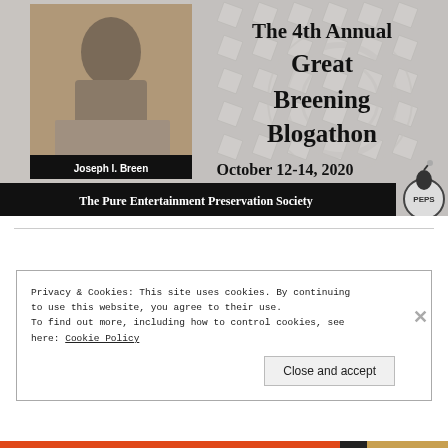[Figure (photo): Banner for The 4th Annual Great Breening Blogathon featuring a sepia-toned photo of Joseph I. Breen on the left, decorative geometric background on the right, title text, date October 12-14 2020, and The Pure Entertainment Preservation Society footer with logo.]
Privacy & Cookies: This site uses cookies. By continuing to use this website, you agree to their use.
To find out more, including how to control cookies, see here: Cookie Policy
Close and accept